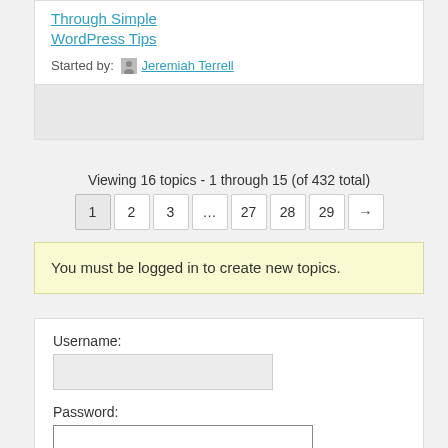Through Simple WordPress Tips
Started by: Jeremiah Terrell
Viewing 16 topics - 1 through 15 (of 432 total)
1 2 3 … 27 28 29 →
You must be logged in to create new topics.
Username:
Password:
Keep me signed in
Log In